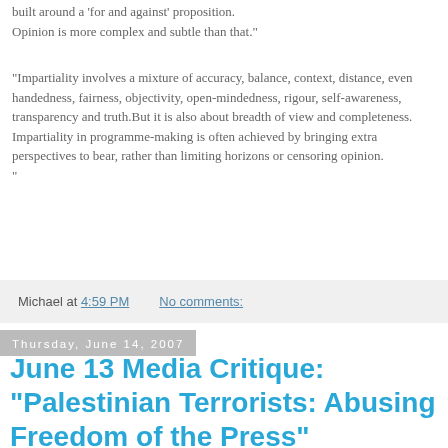built around a 'for and against' proposition. Opinion is more complex and subtle than that."
"Impartiality involves a mixture of accuracy, balance, context, distance, even handedness, fairness, objectivity, open-mindedness, rigour, self-awareness, transparency and truth.But it is also about breadth of view and completeness. Impartiality in programme-making is often achieved by bringing extra perspectives to bear, rather than limiting horizons or censoring opinion."
Michael at 4:59 PM    No comments:
Thursday, June 14, 2007
June 13 Media Critique: "Palestinian Terrorists: Abusing Freedom of the Press"